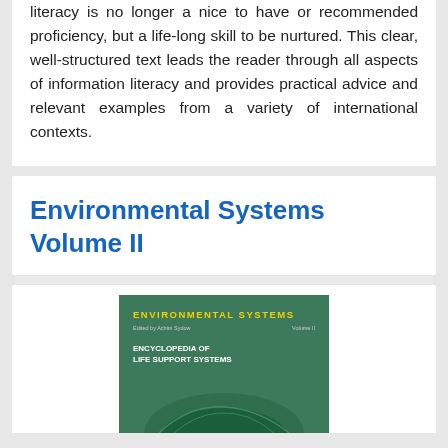literacy is no longer a nice to have or recommended proficiency, but a life-long skill to be nurtured. This clear, well-structured text leads the reader through all aspects of information literacy and provides practical advice and relevant examples from a variety of international contexts.
Environmental Systems Volume II
[Figure (photo): Book cover of Environmental Systems Volume II - Encyclopedia of Life Support Systems, green cover with yellow title text and world map graphic]